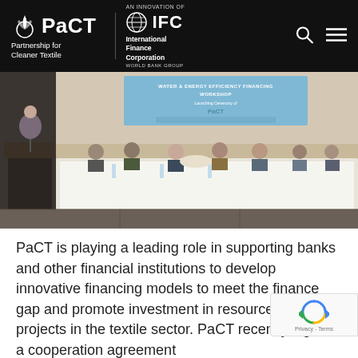PaCT Partnership for Cleaner Textile | AN INNOVATION OF IFC International Finance Corporation WORLD BANK GROUP
[Figure (photo): Panel of speakers seated at a long white-draped table at a Water & Energy Efficiency Financing Workshop launching ceremony of PaCT. A woman presenter stands at a podium on the left. A banner behind the panel reads WATER & ENERGY EFFICIENCY FINANCING WORKSHOP Launching Ceremony of PaCT with sponsor logos.]
PaCT is playing a leading role in supporting banks and other financial institutions to develop innovative financing models to meet the finance gap and prom[ote] investment in resource efficiency projects in the tex[tile] sector. PaCT recently signed a cooperation agreement